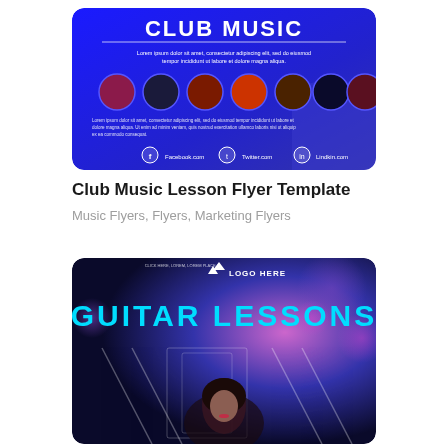[Figure (illustration): Club Music flyer template thumbnail. Blue background with 'CLUB MUSIC' title in bold white text, Lorem ipsum subtitle text, a row of circular DJ/musician photos, social media links (Facebook.com, Twitter.com, Linkedin.com) at the bottom.]
Club Music Lesson Flyer Template
Music Flyers, Flyers, Marketing Flyers
[Figure (illustration): Guitar Lessons flyer template thumbnail. Dark blue/purple bokeh background with 'LOGO HERE' text and mountain logo icon at top, 'GUITAR LESSONS' in large cyan text, and a woman portrait partially visible at the bottom.]